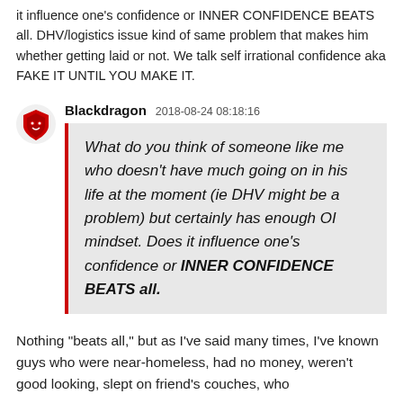it influence one's confidence or INNER CONFIDENCE BEATS all. DHV/logistics issue kind of same problem that makes him whether getting laid or not. We talk self irrational confidence aka FAKE IT UNTIL YOU MAKE IT.
Blackdragon  2018-08-24 08:18:16
What do you think of someone like me who doesn't have much going on in his life at the moment (ie DHV might be a problem) but certainly has enough OI mindset. Does it influence one's confidence or INNER CONFIDENCE BEATS all.
Nothing "beats all," but as I've said many times, I've known guys who were near-homeless, had no money, weren't good looking, slept on friend's couches, who